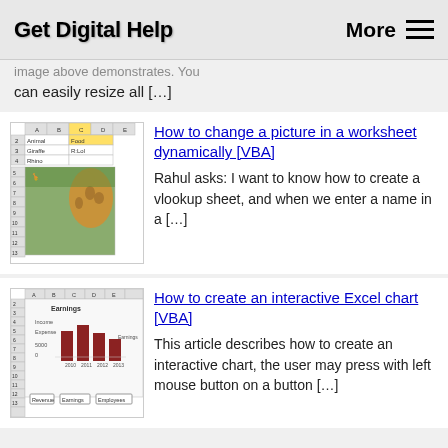Get Digital Help   More ≡
image above demonstrates. You can easily resize all [...]
[Figure (screenshot): Excel worksheet screenshot showing Animal/Food lookup table with a giraffe image]
How to change a picture in a worksheet dynamically [VBA]
Rahul asks: I want to know how to create a vlookup sheet, and when we enter a name in a [...]
[Figure (screenshot): Excel worksheet screenshot showing Earnings bar chart with revenue/earnings/employees buttons]
How to create an interactive Excel chart [VBA]
This article describes how to create an interactive chart, the user may press with left mouse button on a button [...]